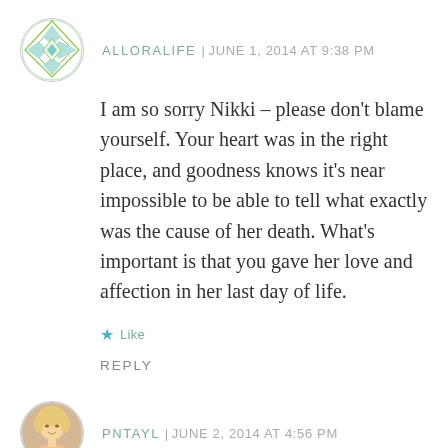ALLORALIFE | JUNE 1, 2014 AT 9:38 PM
I am so sorry Nikki – please don't blame yourself. Your heart was in the right place, and goodness knows it's near impossible to be able to tell what exactly was the cause of her death. What's important is that you gave her love and affection in her last day of life.
Like
REPLY
PNTAYL | JUNE 2, 2014 AT 4:56 PM